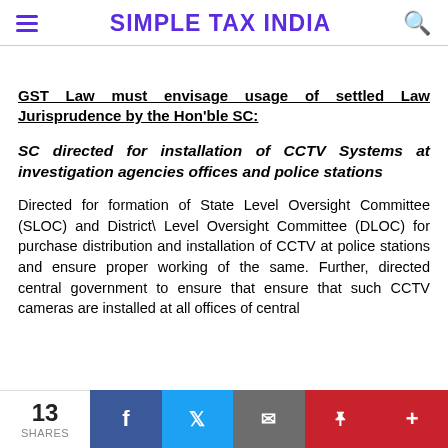SIMPLE TAX INDIA
GST Law must envisage usage of settled Law Jurisprudence by the Hon'ble SC:
SC directed for installation of CCTV Systems at investigation agencies offices and police stations
Directed for formation of State Level Oversight Committee (SLOC) and District\ Level Oversight Committee (DLOC) for purchase distribution and installation of CCTV at police stations and ensure proper working of the same. Further, directed central government to ensure that ensure that such CCTV cameras are installed at all offices of central
13 SHARES